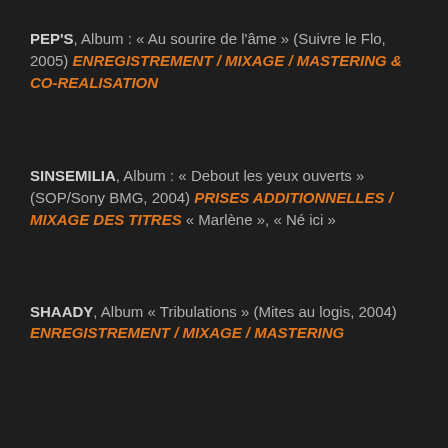PEP'S, Album : « Au sourire de l'âme » (Suivre le Flo, 2005) ENREGISTREMENT / MIXAGE / MASTERING & CO-REALISATION
SINSEMILIA, Album : « Debout les yeux ouverts » (SOP/Sony BMG, 2004) PRISES ADDITIONNELLES / MIXAGE DES TITRES « Marlène », « Né ici »
SHAADY, Album « Tribulations » (Mites au logis, 2004) ENREGISTREMENT / MIXAGE / MASTERING